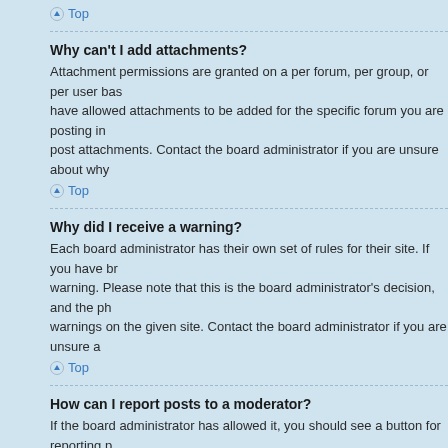Top
Why can't I add attachments?
Attachment permissions are granted on a per forum, per group, or per user basis. The board administrator may not have allowed attachments to be added for the specific forum you are posting in, or perhaps only certain groups can post attachments. Contact the board administrator if you are unsure about why you cannot add attachments.
Top
Why did I receive a warning?
Each board administrator has their own set of rules for their site. If you have broken a rule, you may be issued a warning. Please note that this is the board administrator's decision, and the phpBB Group has nothing to do with the warnings on the given site. Contact the board administrator if you are unsure about why you were issued a warning.
Top
How can I report posts to a moderator?
If the board administrator has allowed it, you should see a button for reporting posts next to the post you wish to report. Clicking this will walk you through the steps necessary to report the post.
Top
What is the “Save” button for in topic posting?
This allows you to save passages to be completed and submitted at a later date. To reload a saved passage, visit the User Control Panel.
Top
Why does my post need to be approved?